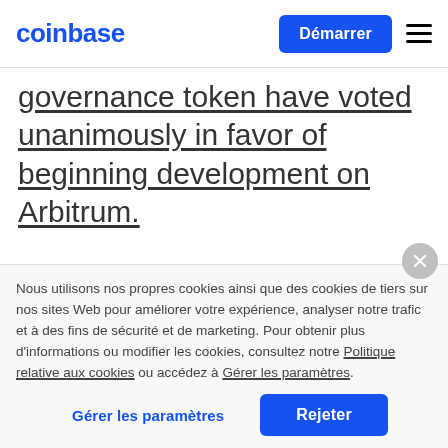coinbase | Démarrer
... governance token have voted unanimously in favor of beginning development on Arbitrum.
Nous utilisons nos propres cookies ainsi que des cookies de tiers sur nos sites Web pour améliorer votre expérience, analyser notre trafic et à des fins de sécurité et de marketing. Pour obtenir plus d'informations ou modifier les cookies, consultez notre Politique relative aux cookies ou accédez à Gérer les paramètres.
Gérer les paramètres | Rejeter